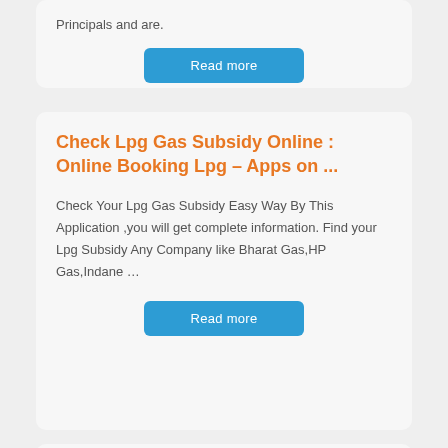Principals and are.
Read more
Check Lpg Gas Subsidy Online : Online Booking Lpg – Apps on ...
Check Your Lpg Gas Subsidy Easy Way By This Application ,you will get complete information. Find your Lpg Subsidy Any Company like Bharat Gas,HP Gas,Indane …
Read more